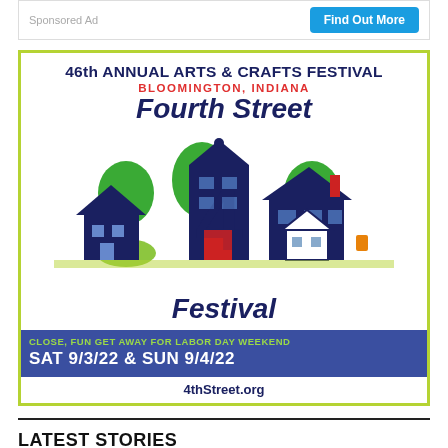Sponsored Ad
Find Out More
[Figure (illustration): Advertisement for 46th Annual Arts & Crafts Festival - Fourth Street Festival in Bloomington, Indiana. Features colorful illustrated townscape with houses and trees in dark blue and green. Text: '46th ANNUAL ARTS & CRAFTS FESTIVAL', 'BLOOMINGTON, INDIANA', 'Fourth Street Festival', 'CLOSE, FUN GET AWAY FOR LABOR DAY WEEKEND', 'SAT 9/3/22 & SUN 9/4/22', '4thStreet.org']
LATEST STORIES